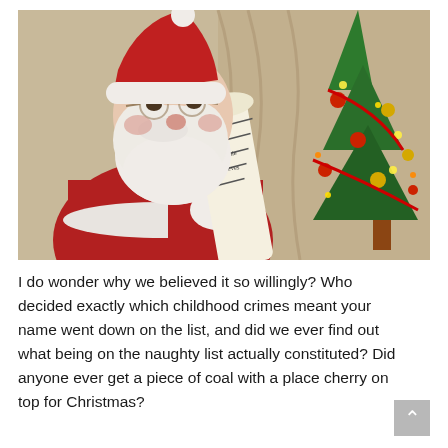[Figure (photo): A man dressed as Santa Claus wearing a red suit and hat with white fur trim, round glasses, and a white beard, reading from a long curling scroll/list. A decorated Christmas tree with ornaments and lights is visible on the right side of the image.]
I do wonder why we believed it so willingly? Who decided exactly which childhood crimes meant your name went down on the list, and did we ever find out what being on the naughty list actually constituted? Did anyone ever get a piece of coal with a place cherry on top for Christmas?